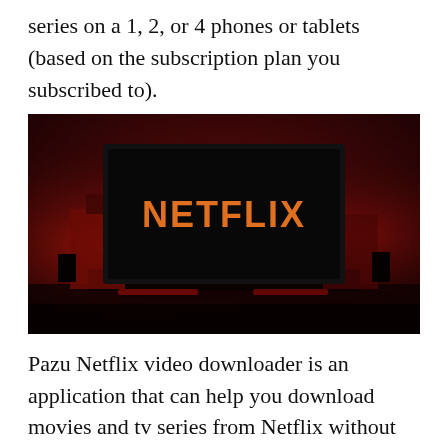series on a 1, 2, or 4 phones or tablets (based on the subscription plan you subscribed to).
[Figure (photo): A darkened room with a television screen displaying the Netflix logo in orange/red lettering against a black screen, with red ambient lighting in the background.]
Pazu Netflix video downloader is an application that can help you download movies and tv series from Netflix without any problem. It is a Netflix video